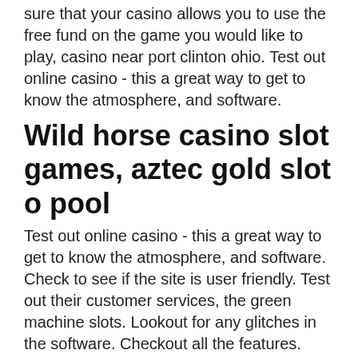sure that your casino allows you to use the free fund on the game you would like to play, casino near port clinton ohio. Test out online casino - this a great way to get to know the atmosphere, and software.
Wild horse casino slot games, aztec gold slot o pool
Test out online casino - this a great way to get to know the atmosphere, and software. Check to see if the site is user friendly. Test out their customer services, the green machine slots. Lookout for any glitches in the software. Checkout all the features. This means a player has to meet the wager requirements to withdraw any real money or winnings, the green machine slots. So even if you win $1,000, if the winnings cap is set at $50 in the bonus terms and, journey to the